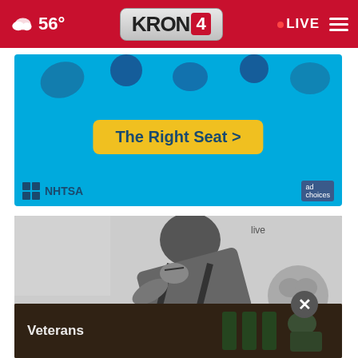KRON 4 — 56° — LIVE
[Figure (photo): NHTSA advertisement with blue background, yellow 'The Right Seat >' button, and NHTSA logo]
[Figure (photo): Black and white photo of a man bending over with a baby visible in the background, with a close/X button overlay]
[Figure (photo): Veterans photo with dark brown/green background showing a person sitting, with 'Veterans' text overlay]